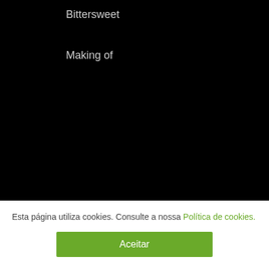Bittersweet
Making of
Esta página utiliza cookies. Consulte a nossa Política de cookies.
Aceitar